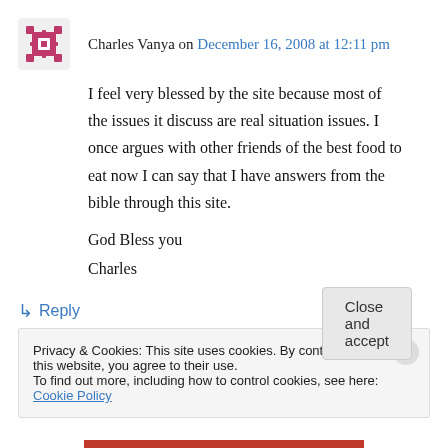Charles Vanya on December 16, 2008 at 12:11 pm
I feel very blessed by the site because most of the issues it discuss are real situation issues. I once argues with other friends of the best food to eat now I can say that I have answers from the bible through this site.
God Bless you
Charles
↳ Reply
Privacy & Cookies: This site uses cookies. By continuing to use this website, you agree to their use.
To find out more, including how to control cookies, see here: Cookie Policy